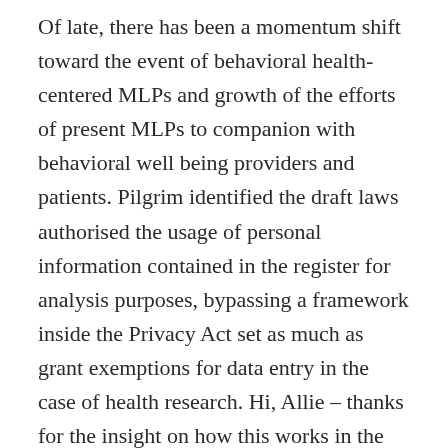Of late, there has been a momentum shift toward the event of behavioral health-centered MLPs and growth of the efforts of present MLPs to companion with behavioral well being providers and patients. Pilgrim identified the draft laws authorised the usage of personal information contained in the register for analysis purposes, bypassing a framework inside the Privacy Act set as much as grant exemptions for data entry in the case of health research. Hi, Allie – thanks for the insight on how this works in the U.K. – so many individuals do not realize they will get insurance coverage assist for sine of these items. I'm so sorry to listen to that you had throat most cancers and hope you are utterly nicely and having fun with good well being.
New diets shouting its deserves as the important